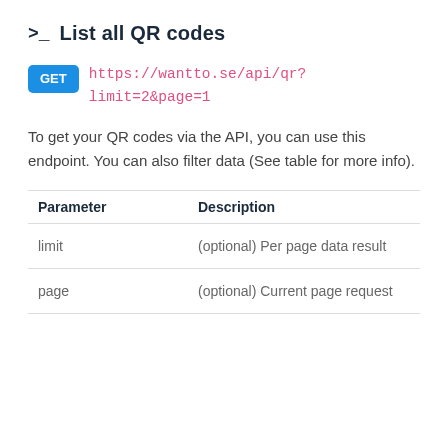>_ List all QR codes
GET https://wantto.se/api/qr?limit=2&page=1
To get your QR codes via the API, you can use this endpoint. You can also filter data (See table for more info).
| Parameter | Description |
| --- | --- |
| limit | (optional) Per page data result |
| page | (optional) Current page request |